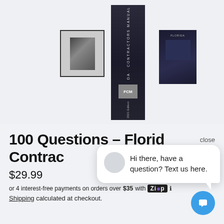[Figure (photo): Product images showing the Florida Contractors Manual book: a thumbnail with selected border, a tall spine view, and a front cover view, all on a light grey background.]
100 Questions – Florida Contractors
$29.99
or 4 interest-free payments on orders over $35 with Zip ℹ
Shipping calculated at checkout.
close
Hi there, have a question? Text us here.